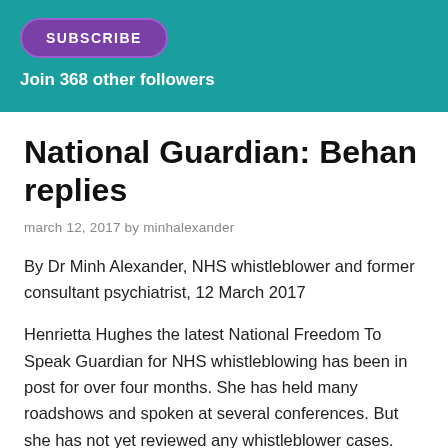[Figure (other): Subscribe button and followers text on teal background header band]
National Guardian: Behan replies
march 12, 2017 by minhalexander
By Dr Minh Alexander, NHS whistleblower and former consultant psychiatrist, 12 March 2017
Henrietta Hughes the latest National Freedom To Speak Guardian for NHS whistleblowing has been in post for over four months. She has held many roadshows and spoken at several conferences. But she has not yet reviewed any whistleblower cases. She announced at a